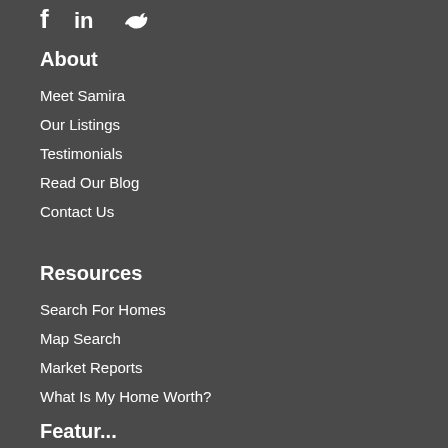[Figure (illustration): Social media icons: Facebook (f), LinkedIn (in), Twitter (bird icon) displayed in white on dark background]
About
Meet Samira
Our Listings
Testimonials
Read Our Blog
Contact Us
Resources
Search For Homes
Map Search
Market Reports
What Is My Home Worth?
Featured...